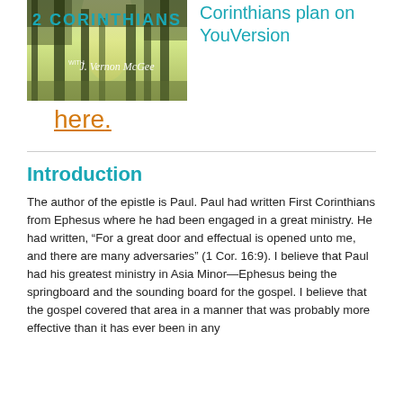[Figure (photo): Book cover image for '2 Corinthians with J. Vernon McGee', showing a forest scene with light streaming through trees]
Corinthians plan on YouVersion here.
Introduction
The author of the epistle is Paul. Paul had written First Corinthians from Ephesus where he had been engaged in a great ministry. He had written, “For a great door and effectual is opened unto me, and there are many adversaries” (1 Cor. 16:9). I believe that Paul had his greatest ministry in Asia Minor—Ephesus being the springboard and the sounding board for the gospel. I believe that the gospel covered that area in a manner that was probably more effective than it has ever been in any